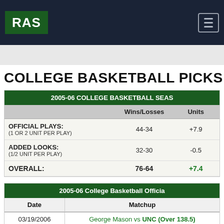[Figure (logo): RAS logo in green square, dark navy navigation bar with hamburger menu icon]
COLLEGE BASKETBALL PICKS FOR
| 2005-06 COLLEGE BASKETBALL SEASON |  | Wins/Losses | Units |
| --- | --- | --- | --- |
| OFFICIAL PLAYS: (1 OR 2 UNIT PER PLAY) |  | 44-34 | +7.9 |
| ADDED LOOKS: (1/2 UNIT PER PLAY) |  | 32-30 | -0.5 |
| OVERALL: |  | 76-64 | +7.4 |
| 2005-06 College Basketball Official |  | Date | Matchup |
| --- | --- | --- | --- |
| 03/19/2006 | George Mason vs UNC (Over 138.5) |